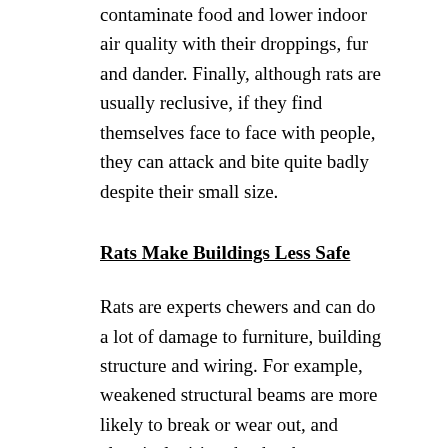contaminate food and lower indoor air quality with their droppings, fur and dander. Finally, although rats are usually reclusive, if they find themselves face to face with people, they can attack and bite quite badly despite their small size.
Rats Make Buildings Less Safe
Rats are experts chewers and can do a lot of damage to furniture, building structure and wiring. For example, weakened structural beams are more likely to break or wear out, and electrical wiring that has been stripped of its insulating cover can cause fires.
Chester Rat Control Can be Difficult and Dangerous
Anyone who has ever tried to get rid of rats knows that controlling a